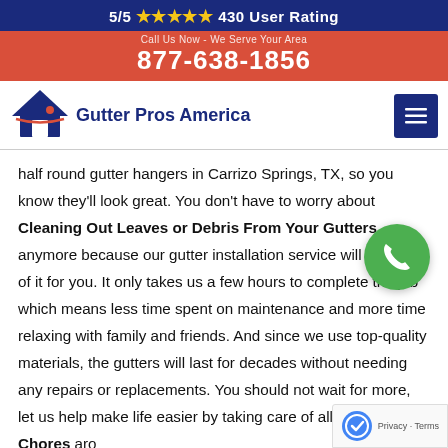5/5 ★★★★★ 430 User Rating
877-638-1856
[Figure (logo): Gutter Pros America logo with house icon and company name]
half round gutter hangers in Carrizo Springs, TX, so you know they'll look great. You don't have to worry about Cleaning Out Leaves or Debris From Your Gutters anymore because our gutter installation service will take care of it for you. It only takes us a few hours to complete the job which means less time spent on maintenance and more time relaxing with family and friends. And since we use top-quality materials, the gutters will last for decades without needing any repairs or replacements. You should not wait for more, let us help make life easier by taking care of all those Pesky Chores around the home while still looking good doing it.